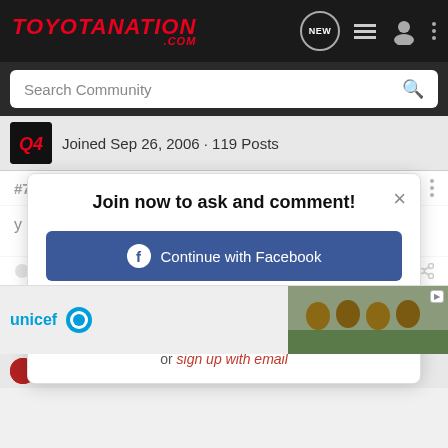TOYOTANATION .COM
Search Community
Joined Sep 26, 2006 · 119 Posts
#7 · Jan 7, 2007
Join now to ask and comment!
Continue with Facebook
Continue with Google
or sign up with email
Reply   Quote
[Figure (logo): UNICEF logo with blue text and emblem]
dn